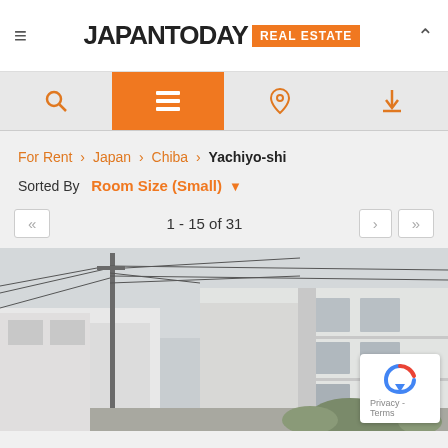JAPAN TODAY REAL ESTATE
For Rent › Japan › Chiba › Yachiyo-shi
Sorted By Room Size (Small)
1 - 15 of 31
[Figure (photo): Exterior photo of a white multi-story Japanese apartment building (3 floors) with utility poles and wires in the foreground, street-level view, grey overcast sky]